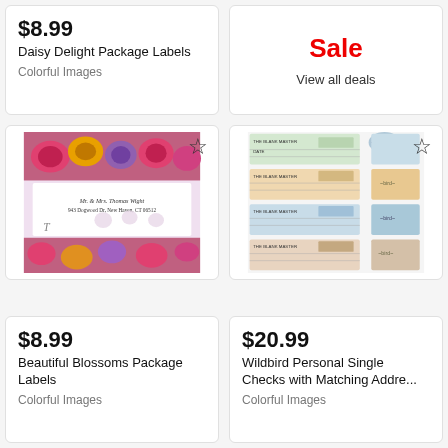$8.99
Daisy Delight Package Labels
Colorful Images
Sale
View all deals
[Figure (photo): Beautiful Blossoms package label showing roses and flowers with mailing address]
[Figure (photo): Wildbird personal single checks showing four check designs with matching address labels]
$8.99
Beautiful Blossoms Package Labels
Colorful Images
$20.99
Wildbird Personal Single Checks with Matching Addre...
Colorful Images